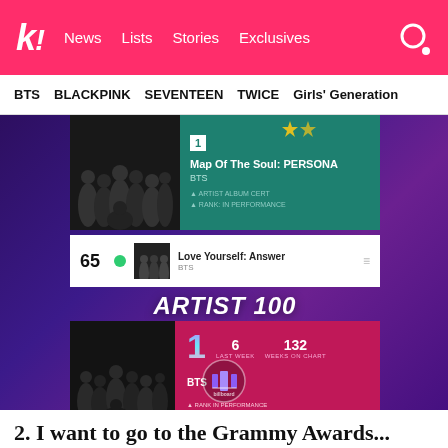k! News | Lists | Stories | Exclusives
BTS   BLACKPINK   SEVENTEEN   TWICE   Girls' Generation
[Figure (screenshot): Billboard chart screenshot showing Map Of The Soul: PERSONA by BTS at #1 on an album chart, Love Yourself: Answer by BTS at #65, ARTIST 100 chart with BTS at #1 with 6 last weeks and 132 weeks on chart, and BTS logo at bottom center.]
2. I want to go to the Grammy Awards...